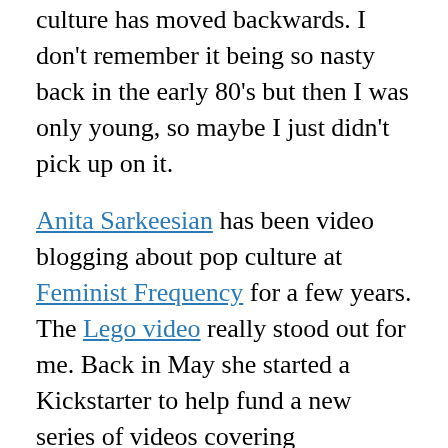culture has moved backwards. I don't remember it being so nasty back in the early 80's but then I was only young, so maybe I just didn't pick up on it.
Anita Sarkeesian has been video blogging about pop culture at Feminist Frequency for a few years. The Lego video really stood out for me. Back in May she started a Kickstarter to help fund a new series of videos covering videogames: Tropes vs. Women in Video Games. Then it happened, the part of gaming culture I don't really like descented in full force, threatening comments on Twitter, Facebook, Kickstarter and YouTube, a defaced Wikipedia entry, rape and death threats, which are really